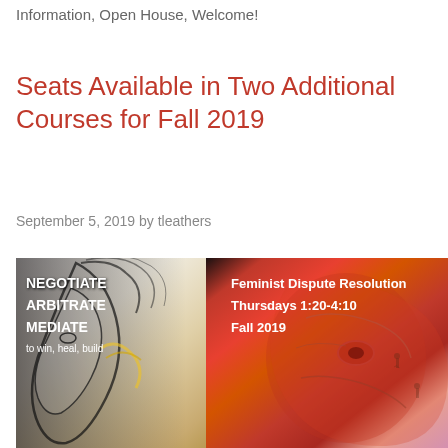Information, Open House, Welcome!
Seats Available in Two Additional Courses for Fall 2019
September 5, 2019 by tleathers
[Figure (illustration): Artwork for Feminist Dispute Resolution course showing two stylized faces — one black-and-white line drawing on the left and one colorful red/orange abstract face on the right — with text overlaid: 'NEGOTIATE ARBITRATE MEDIATE to win, heal, build' on the left and 'Feminist Dispute Resolution Thursdays 1:20-4:10 Fall 2019' on the right.]